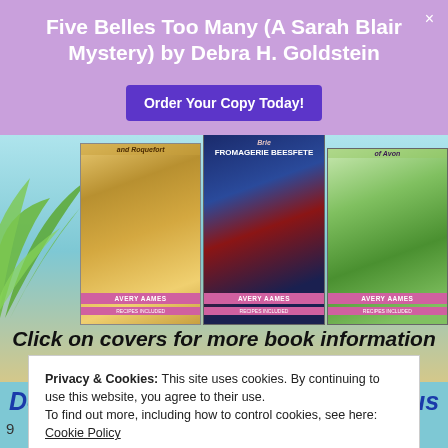Five Belles Too Many (A Sarah Blair Mystery) by Debra H. Goldstein
Order Your Copy Today!
[Figure (screenshot): Three book covers by Avery Aames in a row, partially visible at top]
Click on covers for more book information or
Privacy & Cookies: This site uses cookies. By continuing to use this website, you agree to their use.
To find out more, including how to control cookies, see here: Cookie Policy
Close and accept
Double Dipped offers up a generous scoop or